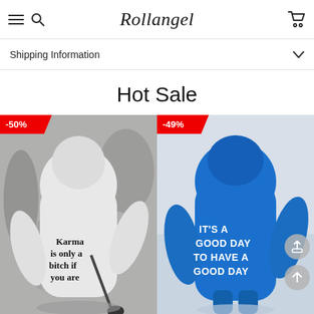Rollangel
Shipping Information
Hot Sale
[Figure (photo): White hoodie with text 'Karma is only a bitch if you are', -50% badge]
[Figure (photo): Blue hoodie with text 'IT'S A GOOD DAY TO HAVE A GOOD DAY', -49% badge, share and scroll-up buttons]